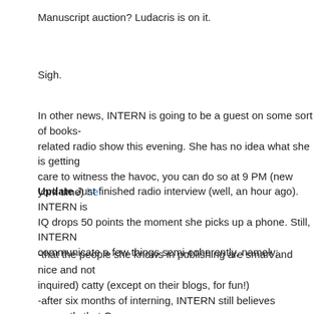Manuscript auction? Ludacris is on it.
Sigh.
In other news, INTERN is going to be a guest on some sort of books-related radio show this evening. She has no idea what she is getting care to witness the havoc, you can do so at 9 PM (new york time) he
Update Just finished radio interview (well, an hour ago). INTERN is IQ drops 50 points the moment she picks up a phone. Still, INTERN communicate a few things semi-coherently, namely:
-that the people she knows in publishing are smart and nice and not inquired) catty (except on their blogs, for fun!)
-after six months of interning, INTERN still believes earnestly that G matters more than anything else in whether or not a ms gets picked pile.
-that her opinion on the subjects of POD publishing and what makes "Um" and "Wha—" respectively.
So that is that.